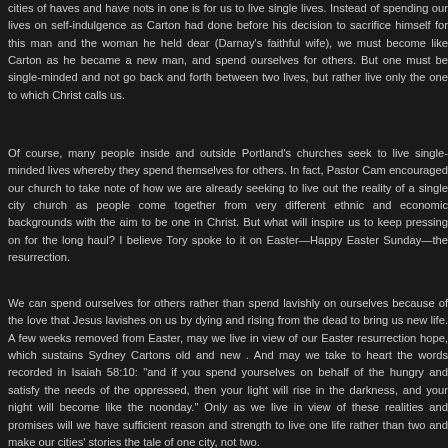cities of haves and have nots in one is for us to live single lives. Instead of spending our lives on self-indulgence as Carton had done before his decision to sacrifice himself for this man and the woman he held dear (Darnay's faithful wife), we must become like Carton as he became a new man, and spend ourselves for others. But one must be single-minded and not go back and forth between two lives, but rather live only the one to which Christ calls us.
Of course, many people inside and outside Portland's churches seek to live single-minded lives whereby they spend themselves for others. In fact, Pastor Cam encouraged our church to take note of how we are already seeking to live out the reality of a single city church as people come together from very different ethnic and economic backgrounds with the aim to be one in Christ. But what will inspire us to keep pressing on for the long haul? I believe Tory spoke to it on Easter—Happy Easter Sunday—the resurrection.
We can spend ourselves for others rather than spend lavishly on ourselves because of the love that Jesus lavishes on us by dying and rising from the dead to bring us new life. A few weeks removed from Easter, may we live in view of our Easter resurrection hope, which sustains Sydney Cartons old and new . And may we take to heart the words recorded in Isaiah 58:10: "and if you spend yourselves on behalf of the hungry and satisfy the needs of the oppressed, then your light will rise in the darkness, and your night will become like the noonday." Only as we live in view of these realities and promises will we have sufficient reason and strength to live one life rather than two and make our cities' stories the tale of one city, not two.